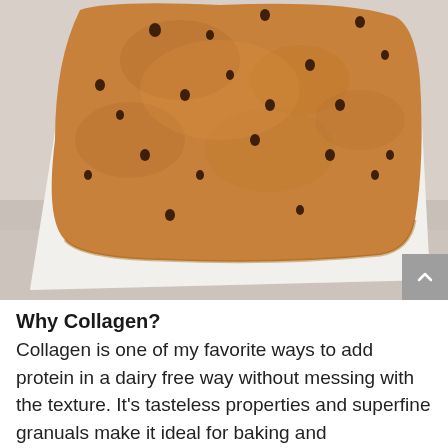[Figure (photo): Overhead close-up photo of a large chocolate chip cookie bar on parchment paper, with a golden-brown surface and scattered chocolate chips, placed on a light stone or marble surface.]
Why Collagen?
Collagen is one of my favorite ways to add protein in a dairy free way without messing with the texture. It's tasteless properties and superfine granuals make it ideal for baking and